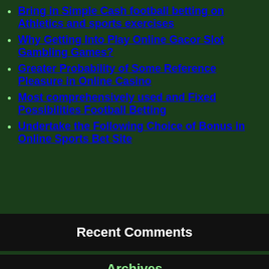Bring in Simple Cash football betting on Athletics and sports exercises
Why Getting Into Play Online Gacor Slot Gambling Games?
Greater Probability of Some Reference Pleasure in Online Casino
Most comprehensively used and Fixed Possibilities Football Betting
Undertake the Following Choice of Bonus in Online Sports Bet Site
Recent Comments
Archives